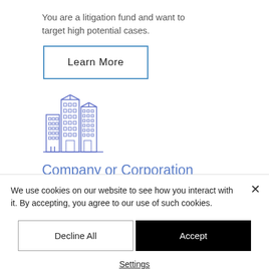You are a litigation fund and want to target high potential cases.
Learn More
[Figure (illustration): Line art icon of city buildings/skyscrapers in blue outline style]
Company or Corporation
You are a corporation interested in
We use cookies on our website to see how you interact with it. By accepting, you agree to our use of such cookies.
Decline All
Accept
Settings